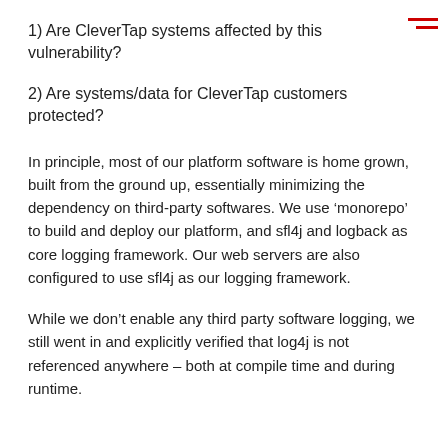1) Are CleverTap systems affected by this vulnerability?
2) Are systems/data for CleverTap customers protected?
In principle, most of our platform software is home grown, built from the ground up, essentially minimizing the dependency on third-party softwares. We use ‘monorepo’ to build and deploy our platform, and sfl4j and logback as core logging framework. Our web servers are also configured to use sfl4j as our logging framework.
While we don’t enable any third party software logging, we still went in and explicitly verified that log4j is not referenced anywhere – both at compile time and during runtime.